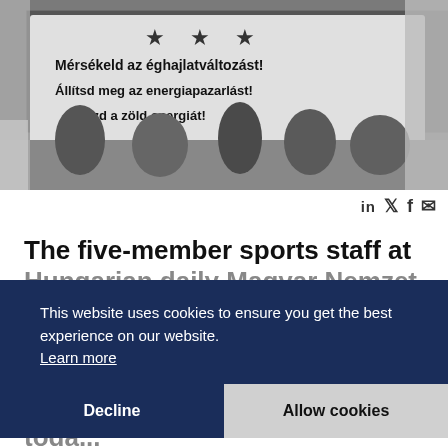[Figure (photo): Black and white photo of a protest/demonstration with banners in Hungarian text reading 'Mérsékeld az éghajlatváltozást!', 'Állítsd meg az energiapazarlást!', 'Vaszd a zöld energiát!' with stars and crowd of people visible]
in 𝕏 f ✉
The five-member sports staff at Hungarian daily Magyar Nemzet resigned or were fired on joining H... G... N... Online reported today.
Magyar Nemzet is owned by media mogul Lajos Simicska, who earlier this year had a public falling out
This website uses cookies to ensure you get the best experience on our website.
Learn more
Decline
Allow cookies